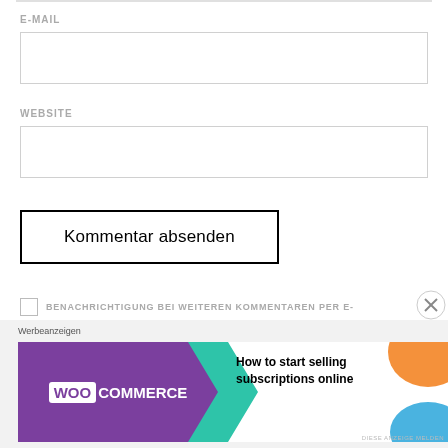E-MAIL
[Figure (screenshot): Empty email input field with light gray border]
WEBSITE
[Figure (screenshot): Empty website input field with light gray border]
Kommentar absenden
BENACHRICHTIGUNG BEI WEITEREN KOMMENTAREN PER E-
Werbeanzeigen
[Figure (screenshot): WooCommerce advertisement banner: purple background with WooCommerce logo on left, green arrow shape in middle, text 'How to start selling subscriptions online' on right with orange and blue decorative shapes]